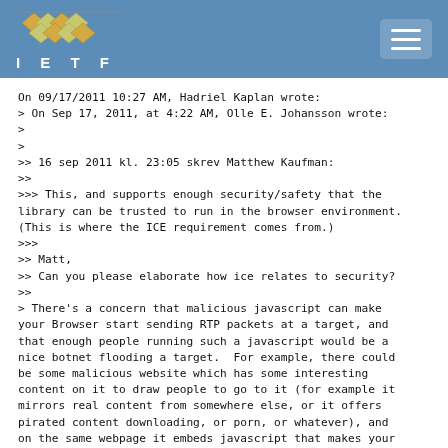IETF
On 09/17/2011 10:27 AM, Hadriel Kaplan wrote:
> On Sep 17, 2011, at 4:22 AM, Olle E. Johansson wrote:
>
>
>> 16 sep 2011 kl. 23:05 skrev Matthew Kaufman:
>>
>>> This, and supports enough security/safety that the
library can be trusted to run in the browser environment.
(This is where the ICE requirement comes from.)
>>>
>> Matt,
>> Can you please elaborate how ice relates to security?
>>
> There's a concern that malicious javascript can make
your Browser start sending RTP packets at a target, and
that enough people running such a javascript would be a
nice botnet flooding a target.  For example, there could
be some malicious website which has some interesting
content on it to draw people to go to it (for example it
mirrors real content from somewhere else, or it offers
pirated content downloading, or porn, or whatever), and
on the same webpage it embeds javascript that makes your